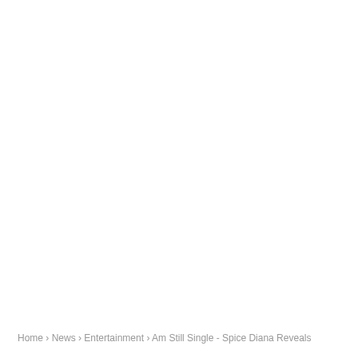Home › News › Entertainment › Am Still Single - Spice Diana Reveals